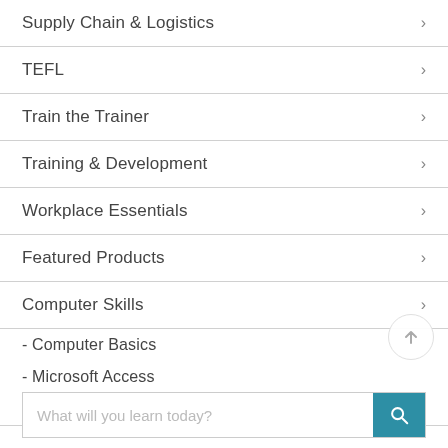Supply Chain & Logistics
TEFL
Train the Trainer
Training & Development
Workplace Essentials
Featured Products
Computer Skills
- Computer Basics
- Microsoft Access
- Microsoft Office
What will you learn today?